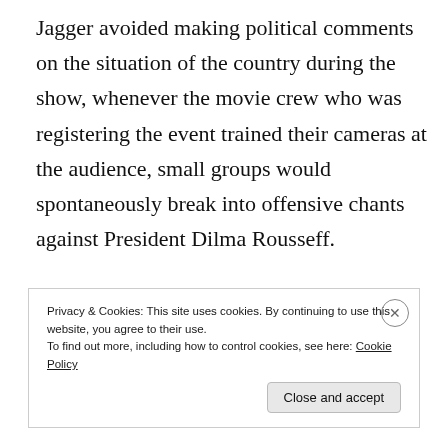Jagger avoided making political comments on the situation of the country during the show, whenever the movie crew who was registering the event trained their cameras at the audience, small groups would spontaneously break into offensive chants against President Dilma Rousseff.
Jorge Sette
Privacy & Cookies: This site uses cookies. By continuing to use this website, you agree to their use. To find out more, including how to control cookies, see here: Cookie Policy